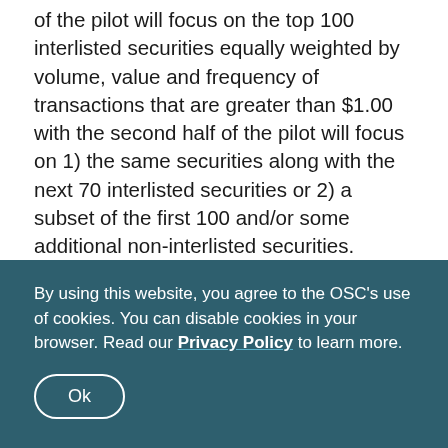of the pilot will focus on the top 100 interlisted securities equally weighted by volume, value and frequency of transactions that are greater than $1.00 with the second half of the pilot will focus on 1) the same securities along with the next 70 interlisted securities or 2) a subset of the first 100 and/or some additional non-interlisted securities. MATCH Now will provide notice of any changes to the list of eligible securities, 30 days before they are allowed to trade at the CBBO. Once the pilot is complete the feature will be expanded to more symbols, disabled or continued in its limited form based on feedback from the industry and
By using this website, you agree to the OSC's use of cookies. You can disable cookies in your browser. Read our Privacy Policy to learn more.